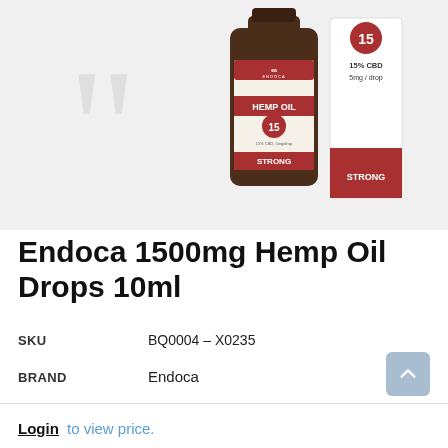[Figure (photo): Product photo of Endoca Hemp Oil bottle (15% CBD, 5mg/drop, STRONG) with its packaging box. The bottle is a dark brown glass jar with a red and cream label showing the Endoca logo, 'HEMP OIL', '15', '15% CBD, 5mg/drop', and 'STRONG'. Next to it is the product box showing the same information. Background is light gray.]
Endoca 1500mg Hemp Oil Drops 10ml
| SKU | BQ0004 – X0235 |
| BRAND | Endoca |
Login to view price.